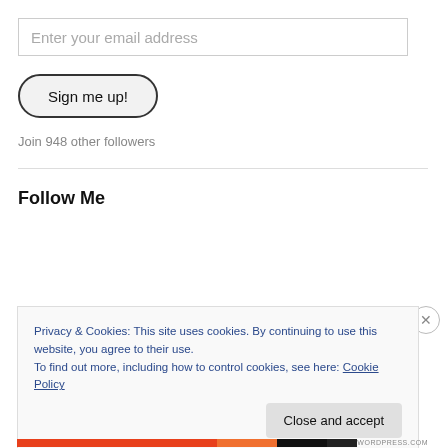Enter your email address
Sign me up!
Join 948 other followers
Follow Me
Privacy & Cookies: This site uses cookies. By continuing to use this website, you agree to their use.
To find out more, including how to control cookies, see here: Cookie Policy
Close and accept